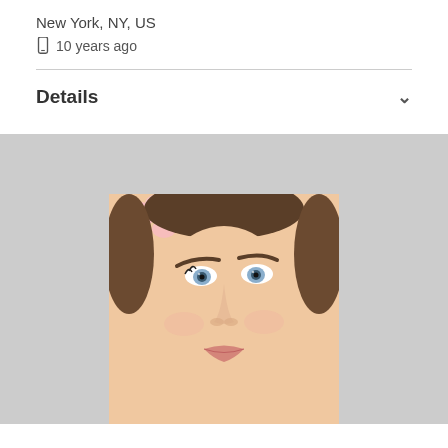New York, NY, US
📱 10 years ago
Details
[Figure (photo): Portrait photo of a young woman with blue-gray eyes, manicured eyebrows, and light skin, looking upward. Pink flowers visible in the upper left corner. Photo is cropped to show face and upper neck against a white background.]